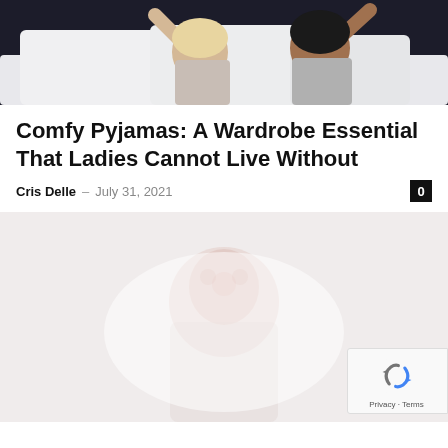[Figure (photo): Two women lying in bed with white pillows, smiling and stretching, wearing casual/pajama clothing, dark background]
Comfy Pyjamas: A Wardrobe Essential That Ladies Cannot Live Without
Cris Delle – July 31, 2021
[Figure (photo): Faded/washed out photo of a woman, very light pink and white tones, partially visible figure]